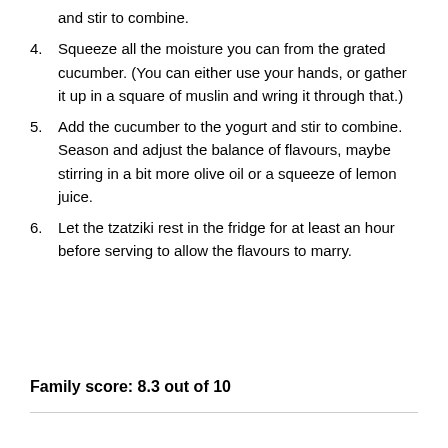and stir to combine.
4. Squeeze all the moisture you can from the grated cucumber. (You can either use your hands, or gather it up in a square of muslin and wring it through that.)
5. Add the cucumber to the yogurt and stir to combine. Season and adjust the balance of flavours, maybe stirring in a bit more olive oil or a squeeze of lemon juice.
6. Let the tzatziki rest in the fridge for at least an hour before serving to allow the flavours to marry.
Family score: 8.3 out of 10